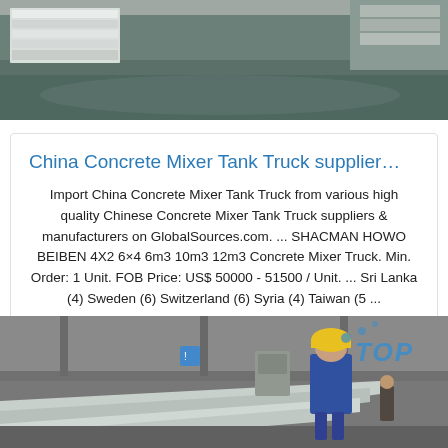[Figure (photo): Top portion of a factory/warehouse interior showing metal sheets/panels stacked on the left and a concrete floor, viewed from above.]
China Concrete Mixer Tank Truck supplier…
Import China Concrete Mixer Tank Truck from various high quality Chinese Concrete Mixer Tank Truck suppliers & manufacturers on GlobalSources.com. ... SHACMAN HOWO BEIBEN 4X2 6×4 6m3 10m3 12m3 Concrete Mixer Truck. Min. Order: 1 Unit. FOB Price: US$ 50000 - 51500 / Unit. ... Sri Lanka (4) Sweden (6) Switzerland (6) Syria (4) Taiwan (5 ...
Get Price
[Figure (photo): Bottom portion showing a factory worker in a yellow hard hat and blue coveralls standing in an industrial facility with metal sheets in the foreground and a 'TOP' watermark in the upper right.]